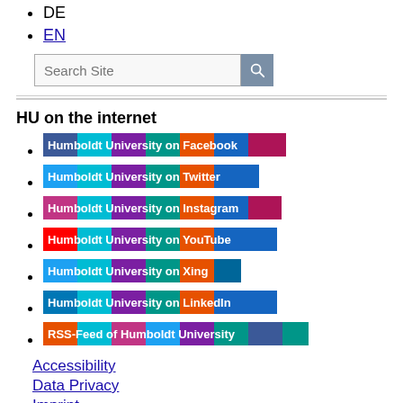DE
EN
[Figure (other): Search Site input box with search button]
HU on the internet
Humboldt University on Facebook
Humboldt University on Twitter
Humboldt University on Instagram
Humboldt University on YouTube
Humboldt University on Xing
Humboldt University on LinkedIn
RSS-Feed of Humboldt University
Accessibility
Data Privacy
Imprint
last modified Jun 08, 2022
edit page